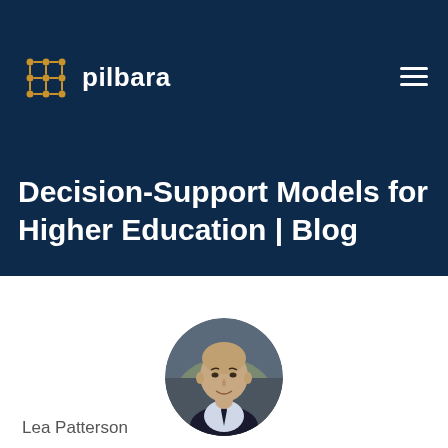[Figure (logo): Pilbara logo with golden geometric cross/diamond pattern icon and white text 'pilbara' on dark navy background header]
Decision-Support Models for Higher Education | Blog
[Figure (photo): Circular portrait photo of a middle-aged bald man in a suit and tie, smiling slightly, on white background]
Lea Patterson